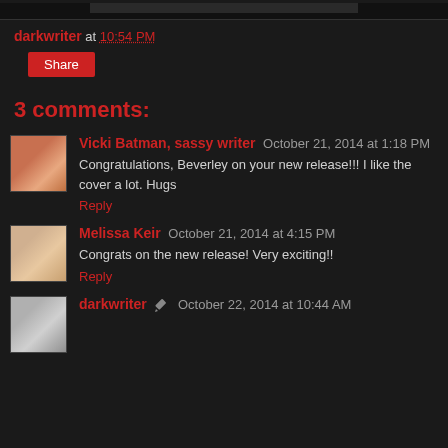darkwriter at 10:54 PM
Share
3 comments:
[Figure (photo): Avatar photo of Vicki Batman, sassy writer]
Vicki Batman, sassy writer  October 21, 2014 at 1:18 PM
Congratulations, Beverley on your new release!!! I like the cover a lot. Hugs
Reply
[Figure (photo): Avatar photo of Melissa Keir]
Melissa Keir  October 21, 2014 at 4:15 PM
Congrats on the new release! Very exciting!!
Reply
[Figure (photo): Avatar photo of darkwriter]
darkwriter  October 22, 2014 at 10:44 AM